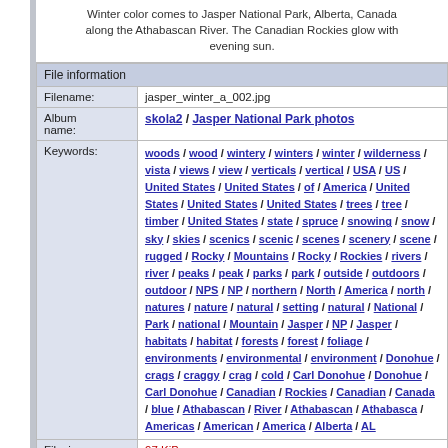Winter color comes to Jasper National Park, Alberta, Canada along the Athabascan River. The Canadian Rockies glow with evening sun.
| File information |
| --- |
| Filename: | jasper_winter_a_002.jpg |
| Album name: | skola2 / Jasper National Park photos |
| Keywords: | woods / wood / wintery / winters / winter / wilderness / vista / views / view / verticals / vertical / USA / US / United States / United States / of / America / United States / United States / United States / trees / tree / timber / United States / state / spruce / snowing / snow / sky / skies / scenics / scenic / scenes / scenery / scene / rugged / Rocky / Mountains / Rocky / Rockies / rivers / river / peaks / peak / parks / park / outside / outdoors / outdoor / NPS / NP / northern / North / America / north / natures / nature / natural / setting / natural / National / Park / national / Mountain / Jasper / NP / Jasper / habitats / habitat / forests / forest / foliage / environments / environmental / environment / Donohue / crags / craggy / crag / cold / Carl Donohue / Donohue / Carl Donohue / Canadian / Rockies / Canadian / Canada / blue / Athabascan / River / Athabascan / Athabasca / Americas / American / America / Alberta / AL |
| Filesize: | 97 KiB |
| Date added: | Dec 29, 2007 |